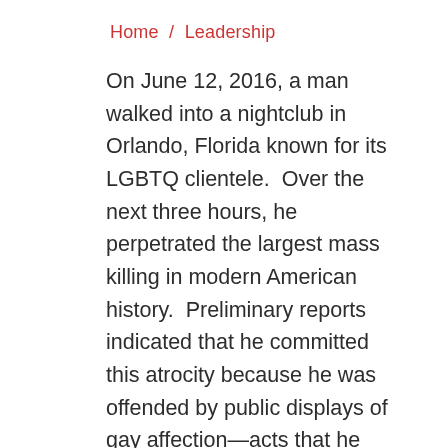Home / Leadership
On June 12, 2016, a man walked into a nightclub in Orlando, Florida known for its LGBTQ clientele.  Over the next three hours, he perpetrated the largest mass killing in modern American history.  Preliminary reports indicated that he committed this atrocity because he was offended by public displays of gay affection—acts that he undoubtedly believed were an affront to God and a mockery of all that is good.
He could add the perfect examples of follow-to